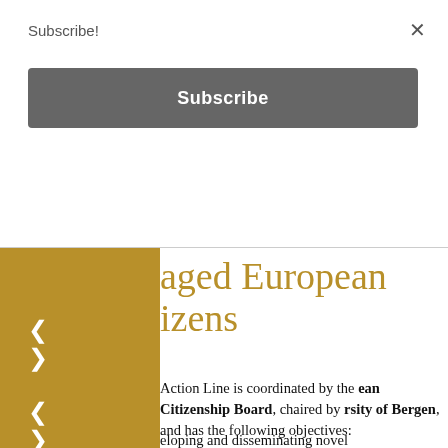Subscribe!
Subscribe
aged European citizens
Action Line is coordinated by the European Citizenship Board, chaired by University of Bergen, and has the following objectives:
eloping and disseminating novel